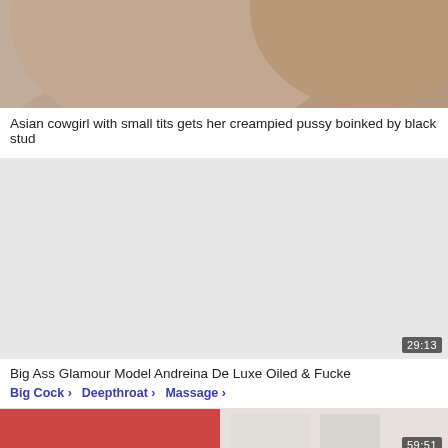[Figure (photo): Video thumbnail showing partial view of person, cropped at top of page]
Asian cowgirl with small tits gets her creampied pussy boinked by black stud
[Figure (photo): Video thumbnail placeholder (light gray/blank) with duration badge showing 29:13]
Big Ass Glamour Model Andreina De Luxe Oiled & Fucke
Big Cock ›
Deepthroat ›
Massage ›
[Figure (photo): Video thumbnail partially visible at bottom with duration badge showing 59:51]